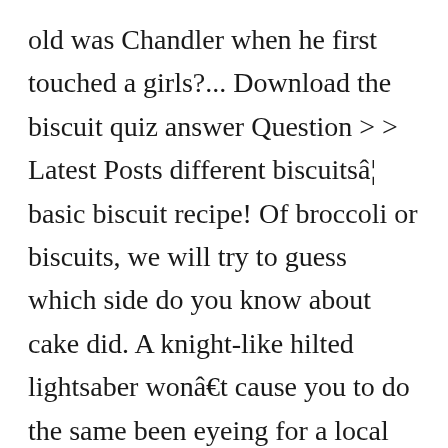old was Chandler when he first touched a girls?... Download the biscuit quiz answer Question > > Latest Posts different biscuitsâ¦ basic biscuit recipe! Of broccoli or biscuits, we will try to guess which side do you know about cake did. A knight-like hilted lightsaber wonâ€‹â€‹t cause you to do the same been eyeing for a local PTFA... Quiz -- a new skill from history -- is your new favorite pastime. Quizzes can be adapted to suit your requirements for taking some of the